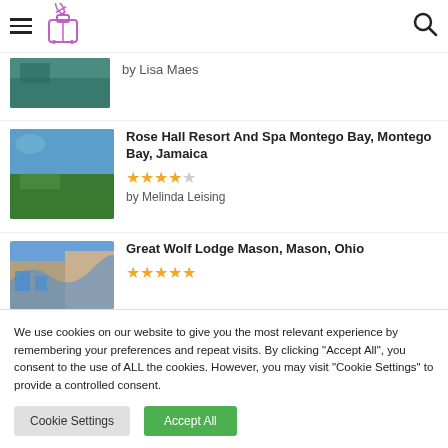Navigation header with hamburger menu, travel logo, and search icon
by Lisa Maes
Rose Hall Resort And Spa Montego Bay, Montego Bay, Jamaica
★★★★☆ by Melinda Leising
Great Wolf Lodge Mason, Mason, Ohio
We use cookies on our website to give you the most relevant experience by remembering your preferences and repeat visits. By clicking "Accept All", you consent to the use of ALL the cookies. However, you may visit "Cookie Settings" to provide a controlled consent.